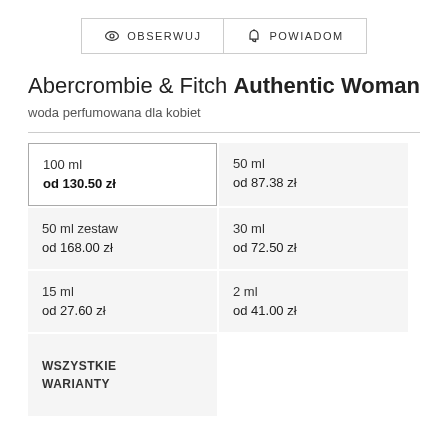[Figure (other): Two buttons: OBSERWUJ (watch/follow) with eye icon and POWIADOM (notify) with bell icon]
Abercrombie & Fitch Authentic Woman
woda perfumowana dla kobiet
| 100 ml
od 130.50 zł | 50 ml
od 87.38 zł |
| 50 ml zestaw
od 168.00 zł | 30 ml
od 72.50 zł |
| 15 ml
od 27.60 zł | 2 ml
od 41.00 zł |
| WSZYSTKIE WARIANTY |  |